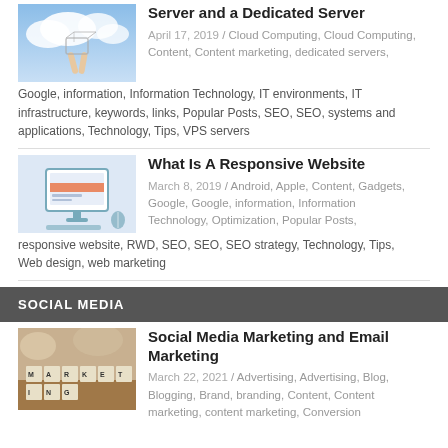Server and a Dedicated Server
April 17, 2019 / Cloud Computing, Cloud Computing, Content, Content marketing, dedicated servers, Google, information, Information Technology, IT environments, IT infrastructure, keywords, links, Popular Posts, SEO, SEO, systems and applications, Technology, Tips, VPS servers
What Is A Responsive Website
March 8, 2019 / Android, Apple, Content, Gadgets, Google, Google, information, Information Technology, Optimization, Popular Posts, responsive website, RWD, SEO, SEO, SEO strategy, Technology, Tips, Web design, web marketing
SOCIAL MEDIA
Social Media Marketing and Email Marketing
March 22, 2021 / Advertising, Advertising, Blog, Blogging, Brand, branding, Content, Content marketing, content marketing, Conversion